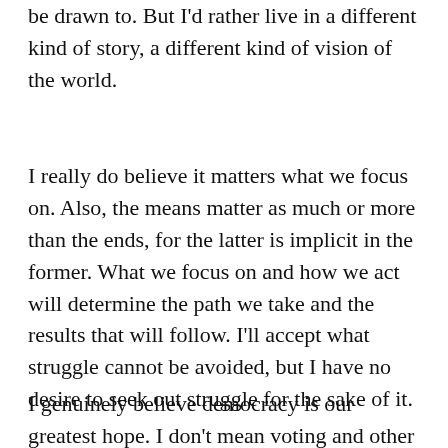be drawn to. But I'd rather live in a different kind of story, a different kind of vision of the world.
I really do believe it matters what we focus on. Also, the means matter as much or more than the ends, for the latter is implicit in the former. What we focus on and how we act will determine the path we take and the results that will follow. I'll accept what struggle cannot be avoided, but I have no desire to seek out struggle for the sake of it.
I genuinely believe democracy is our greatest hope. I don't mean voting and other official political processes. What I